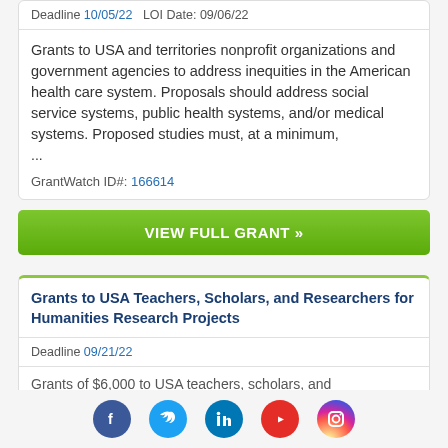Deadline 10/05/22   LOI Date: 09/06/22
Grants to USA and territories nonprofit organizations and government agencies to address inequities in the American health care system. Proposals should address social service systems, public health systems, and/or medical systems. Proposed studies must, at a minimum, ...
GrantWatch ID#: 166614
VIEW FULL GRANT »
Grants to USA Teachers, Scholars, and Researchers for Humanities Research Projects
Deadline 09/21/22
Grants of $6,000 to USA teachers, scholars, and
[Figure (infographic): Row of five social media icon circles: Facebook (dark blue), Twitter (light blue), LinkedIn (teal/blue), YouTube (red), Instagram (pink/purple gradient)]